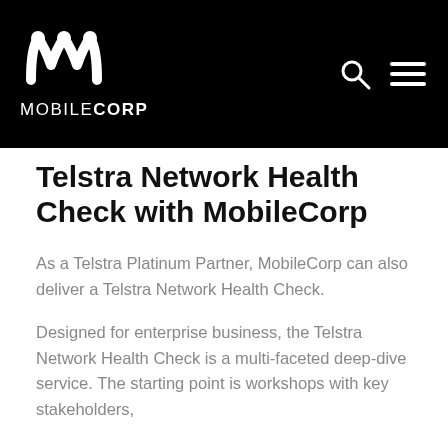[Figure (logo): MobileCorp logo — stylized 'm' icon in white on black background with text MOBILECORP below]
Telstra Network Health Check with MobileCorp
As a Telstra Platinum Partner, MobileCorp can also deliver a Telstra Network Health Check.
Designed for enterprise business, the Telstra Network Health Check is a multi-faceted deep-dive service. The starting point is workshops with key stakeholders,